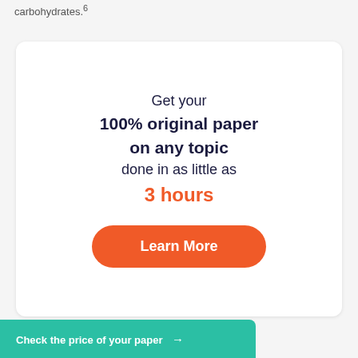carbohydrates.⁶
[Figure (infographic): Promotional card on white background with rounded corners. Text reads: 'Get your 100% original paper on any topic done in as little as 3 hours' with a Learn More button.]
Check the price of your paper →